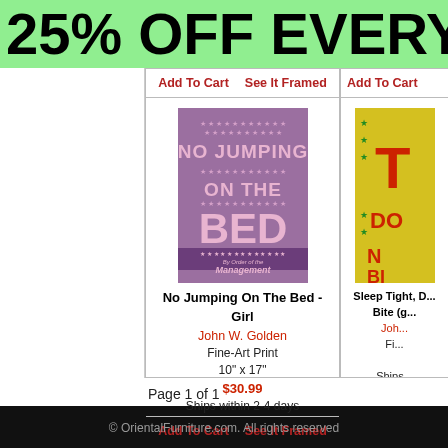25% OFF EVERYTH
[Figure (illustration): Book cover: No Jumping On The Bed - Girl, purple/pink background with text 'NO JUMPING ON THE BED By Order of the Management']
No Jumping On The Bed - Girl
John W. Golden
Fine-Art Print
10" x 17"
$30.99
Ships within 2-4 days
[Figure (illustration): Partial book cover: Sleep Tight, D... Bite (g...) - yellow background with red and green text, partially cropped]
Sleep Tight, D... Bite (g...)
Joh...
Fi...
Ships...
Page 1 of 1
© OrientalFurniture.com. All rights reserved